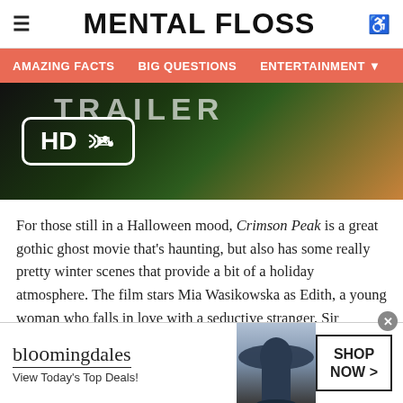≡  MENTAL FLOSS  ♿
AMAZING FACTS   BIG QUESTIONS   ENTERTAINMENT ▼
[Figure (screenshot): Movie trailer thumbnail showing HD badge with scissors icon on dark green background with text partially visible]
For those still in a Halloween mood, Crimson Peak is a great gothic ghost movie that's haunting, but also has some really pretty winter scenes that provide a bit of a holiday atmosphere. The film stars Mia Wasikowska as Edith, a young woman who falls in love with a seductive stranger, Sir Thomas (Tom Hiddleston). But when she moves to his house on Crimson Peak and begins living with his dismissive and cruel sister
[Figure (screenshot): Bloomingdale's advertisement banner: logo, 'View Today's Top Deals!', woman with hat, 'SHOP NOW >' button]